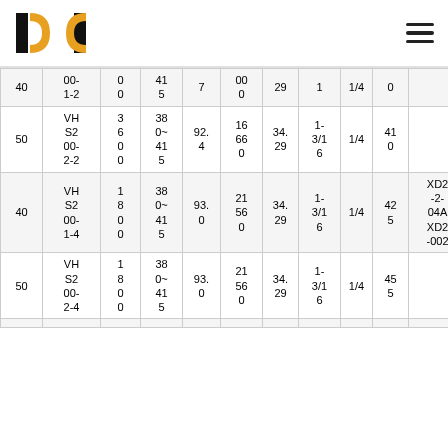Logo and navigation menu
| 40 | 00-1-2 | 0 0 | 415 | 7 | 00 0 | 29 | 1 | 1/4 | 0 |  |
| 50 | VHS200-2-2 | 3600 | 380~415 | 92.4 | 16660 | 34.29 | 1-3/16 | 1/4 | 410 |  |
| 40 | VHS200-1-4 | 1800 | 380~415 | 93.0 | 21560 | 34.29 | 1-3/16 | 1/4 | 425 | XD2-2-04A XD2-002 |
| 50 | VHS200-2-4 | 1800 | 380~415 | 93.0 | 21560 | 34.29 | 1-3/16 | 1/4 | 455 |  |